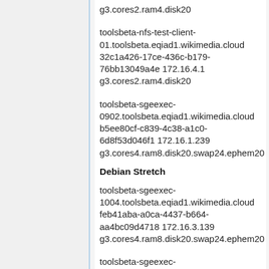g3.cores2.ram4.disk20
toolsbeta-nfs-test-client-01.toolsbeta.eqiad1.wikimedia.cloud 32c1a426-17ce-436c-b179-76bb13049a4e 172.16.4.1 g3.cores2.ram4.disk20
toolsbeta-sgeexec-0902.toolsbeta.eqiad1.wikimedia.cloud b5ee80cf-c839-4c38-a1c0-6d8f53d046f1 172.16.1.239 g3.cores4.ram8.disk20.swap24.ephem20
Debian Stretch
toolsbeta-sgeexec-1004.toolsbeta.eqiad1.wikimedia.cloud feb41aba-a0ca-4437-b664-aa4bc09d4718 172.16.3.139 g3.cores4.ram8.disk20.swap24.ephem20
toolsbeta-sgeexec-1003.toolsbeta.eqiad1.wikimedia.cloud